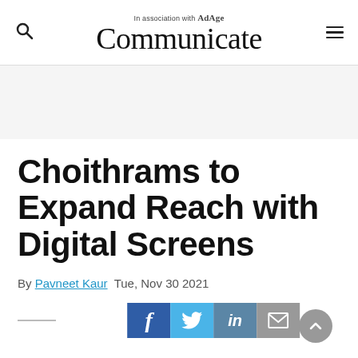In association with AdAge — Communicate
Choithrams to Expand Reach with Digital Screens
By Pavneet Kaur  Tue, Nov 30 2021
[Figure (screenshot): Social share buttons: Facebook, Twitter, LinkedIn, Email. Back-to-top button on the right.]